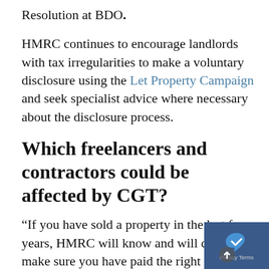Resolution at BDO.
HMRC continues to encourage landlords with tax irregularities to make a voluntary disclosure using the Let Property Campaign and seek specialist advice where necessary about the disclosure process.
Which freelancers and contractors could be affected by CGT?
“If you have sold a property in the last four years, HMRC will know and will chase up make sure you have paid the right amount of tax